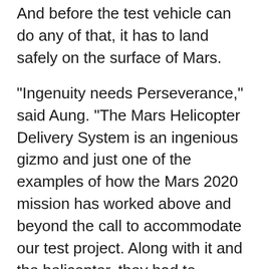And before the test vehicle can do any of that, it has to land safely on the surface of Mars.
"Ingenuity needs Perseverance," said Aung. "The Mars Helicopter Delivery System is an ingenious gizmo and just one of the examples of how the Mars 2020 mission has worked above and beyond the call to accommodate our test project. Along with it and the helicopter, they had to incorporate an electronic base station and antenna dedicated entirely to helicopter operations into the rover. Our teams had to work closely together to make this complex system work. When Ingenuity flies, it will be an achievement we can all share."